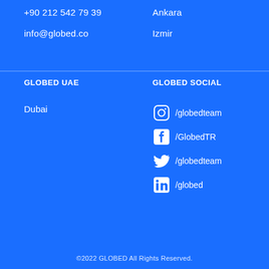+90 212 542 79 39
info@globed.co
Ankara
Izmir
GLOBED UAE
GLOBED SOCIAL
Dubai
/globedteam
/GlobedTR
/globedteam
/globed
©2022 GLOBED All Rights Reserved.